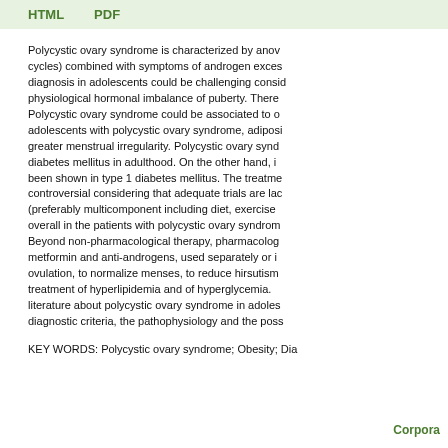HTML    PDF
Polycystic ovary syndrome is characterized by anov cycles) combined with symptoms of androgen exces diagnosis in adolescents could be challenging consid physiological hormonal imbalance of puberty. There Polycystic ovary syndrome could be associated to o adolescents with polycystic ovary syndrome, adiposi greater menstrual irregularity. Polycystic ovary synd diabetes mellitus in adulthood. On the other hand, i been shown in type 1 diabetes mellitus. The treatme controversial considering that adequate trials are lac (preferably multicomponent including diet, exercise overall in the patients with polycystic ovary syndrom Beyond non-pharmacological therapy, pharmacolog metformin and anti-androgens, used separately or i ovulation, to normalize menses, to reduce hirsutism treatment of hyperlipidemia and of hyperglycemia. literature about polycystic ovary syndrome in adoles diagnostic criteria, the pathophysiology and the poss
KEY WORDS: Polycystic ovary syndrome; Obesity; Dia
Corpora